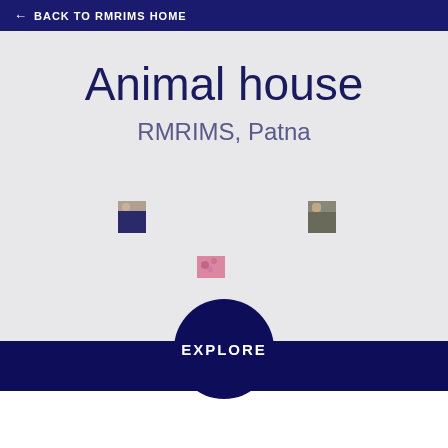← BACK TO RMRIMS HOME
Animal house
RMRIMS, Patna
[Figure (photo): Three small thumbnail images scattered in grey area — a person portrait on the left, another person portrait on the right, and a pink microscopy or tissue image in the center-bottom]
EXPLORE
About